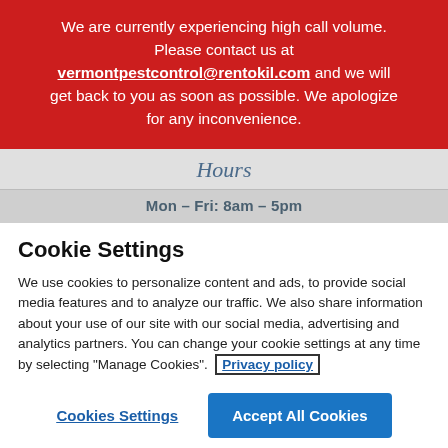We are currently experiencing high call volume. Please contact us at vermontpestcontrol@rentokil.com and we will get back to you as soon as possible. We apologize for any inconvenience.
Hours
Mon – Fri: 8am – 5pm
Cookie Settings
We use cookies to personalize content and ads, to provide social media features and to analyze our traffic. We also share information about your use of our site with our social media, advertising and analytics partners. You can change your cookie settings at any time by selecting "Manage Cookies". Privacy policy
Cookies Settings
Accept All Cookies